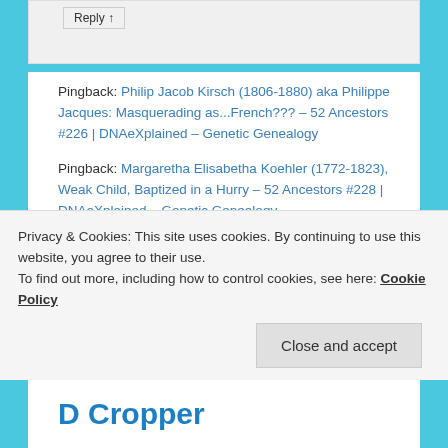Reply ↑
Pingback: Philip Jacob Kirsch (1806-1880) aka Philippe Jacques: Masquerading as...French??? – 52 Ancestors #226 | DNAeXplained – Genetic Genealogy
Pingback: Margaretha Elisabetha Koehler (1772-1823), Weak Child, Baptized in a Hurry – 52 Ancestors #228 | DNAeXplained – Genetic Genealogy
Pingback: Susanna Elisabetha Koob (1731 – after
Privacy & Cookies: This site uses cookies. By continuing to use this website, you agree to their use.
To find out more, including how to control cookies, see here: Cookie Policy
Close and accept
D Cropper